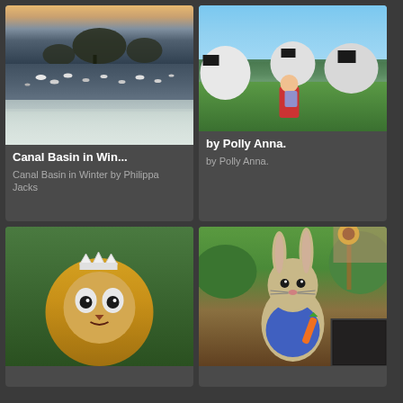[Figure (photo): Canal Basin in Winter photo showing a frozen/frosty waterway with birds/swans on the water, winter trees silhouetted against a pale sky at dusk or dawn]
Canal Basin in Win...
Canal Basin in Winter by Philippa Jacks
[Figure (photo): Child in red jacket surrounded by black and white dairy cows in a sunny green field]
by Polly Anna.
by Polly Anna.
[Figure (photo): Straw sculpture of a lion with a crown, facing the camera, outdoor setting with green trees in background]
[Figure (photo): Large straw sculpture of Peter Rabbit in a blue jacket holding a carrot, in a garden with sunflowers and green bushes. Small dark thumbnail image in bottom right corner.]